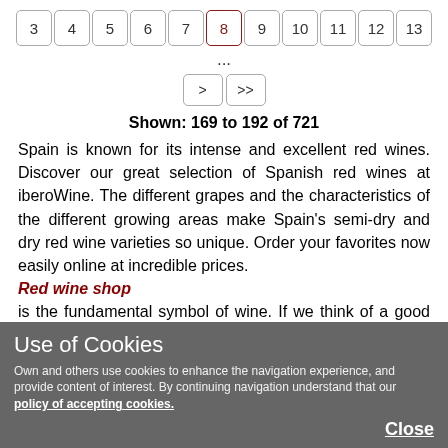3 4 5 6 7 8 9 10 11 12 13 ... > >> Shown: 169 to 192 of 721
Spain is known for its intense and excellent red wines. Discover our great selection of Spanish red wines at iberoWine. The different grapes and the characteristics of the different growing areas make Spain's semi-dry and dry red wine varieties so unique. Order your favorites now easily online at incredible prices. Red wine shop is the fundamental symbol of wine. If we think of a good wine to eat, a dinner for a special moment, do not come to mind red wine.
Use of Cookies
Own and others use cookies to enhance the navigation experience, and provide content of interest. By continuing navigation understand that our policy of accepting cookies.
Close